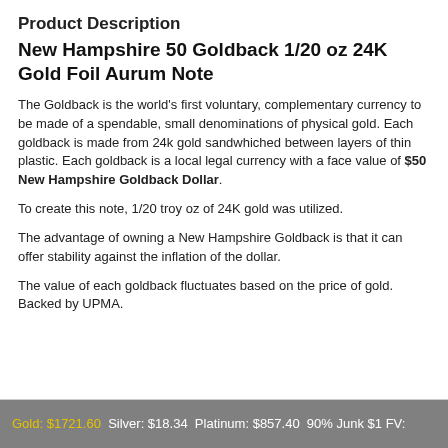Product Description
New Hampshire 50 Goldback 1/20 oz 24K Gold Foil Aurum Note
The Goldback is the world's first voluntary, complementary currency to be made of a spendable, small denominations of physical gold. Each goldback is made from 24k gold sandwhiched between layers of thin plastic. Each goldback is a local legal currency with a face value of $50 New Hampshire Goldback Dollar.
To create this note, 1/20 troy oz of 24K gold was utilized.
The advantage of owning a New Hampshire Goldback is that it can offer stability against the inflation of the dollar.
The value of each goldback fluctuates based on the price of gold. Backed by UPMA.
Gold: $1721.60  Silver: $18.34  Platinum: $857.40  90% Junk $1 FV: